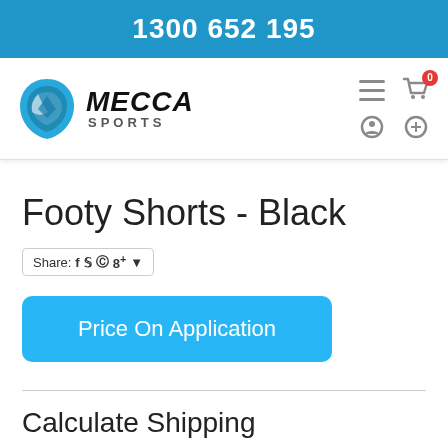1300 652 195
[Figure (logo): Mecca Sports logo with blue shield icon and bold italic text 'MECCA SPORTS']
Footy Shorts - Black
Share: f ✓ @ 8+ ▾
Price On Application
Calculate Shipping